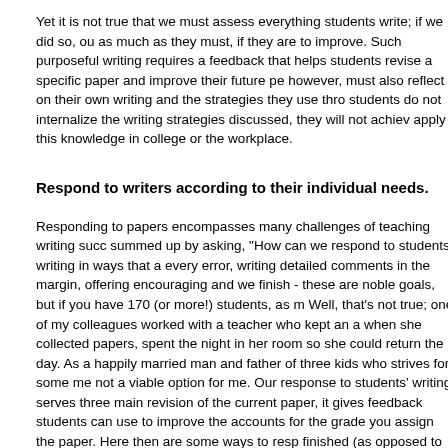Yet it is not true that we must assess everything students write; if we did so, ou as much as they must, if they are to improve. Such purposeful writing requires a feedback that helps students revise a specific paper and improve their future pe however, must also reflect on their own writing and the strategies they use thro students do not internalize the writing strategies discussed, they will not achiev apply this knowledge in college or the workplace.
Respond to writers according to their individual needs.
Responding to papers encompasses many challenges of teaching writing succ summed up by asking, "How can we respond to students' writing in ways that a every error, writing detailed comments in the margin, offering encouraging and we finish - these are noble goals, but if you have 170 (or more!) students, as m Well, that's not true; one of my colleagues worked with a teacher who kept an a when she collected papers, spent the night in her room so she could return the day. As a happily married man and father of three kids who strives for some me not a viable option for me. Our response to students' writing serves three main revision of the current paper, it gives feedback students can use to improve the accounts for the grade you assign the paper. Here then are some ways to resp finished (as opposed to while they are in draft form).
Avoid overfocusing on surface errors. Instead, narrow your remarks to emp important errors, particularly those errors you have been addressing most also for patterns of error, as these offer targeted opportunities for quick imp